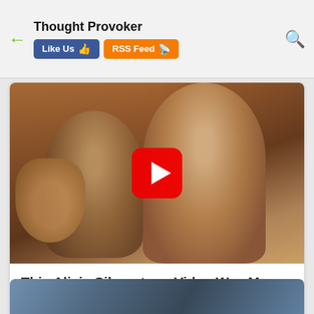Thought Provoker | Like Us | RSS Feed
[Figure (screenshot): Video thumbnail showing two women laughing with a YouTube play button overlay, warm orange/brown tones]
This Alicia Silverstone Video Was More Popular Than 'Clueless'
Traitslab
[Figure (photo): Partial bottom image strip, blue/grey tones, partially visible]